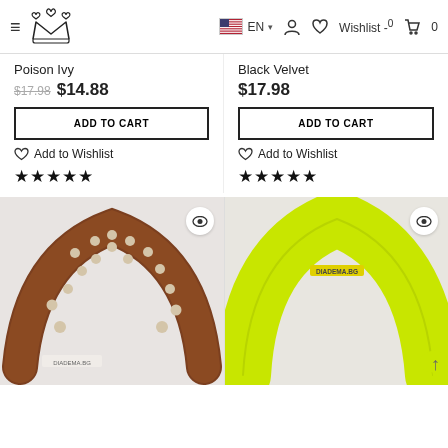Navigation header with logo, EN language selector, user icon, wishlist (0), and cart (0)
Poison Ivy
$17.98  $14.88
ADD TO CART
Add to Wishlist
★★★★★
Black Velvet
$17.98
ADD TO CART
Add to Wishlist
★★★★★
[Figure (photo): Brown fabric headband with white polka dots, branded DIADEMA.BG]
[Figure (photo): Neon yellow/green wide padded headband, branded DIADEMA.BG]